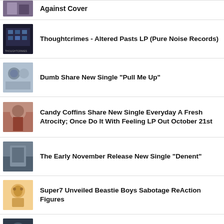Against Cover
Thoughtcrimes - Altered Pasts LP (Pure Noise Records)
Dumb Share New Single "Pull Me Up"
Candy Coffins Share New Single Everyday A Fresh Atrocity; Once Do It With Feeling LP Out October 21st
The Early November Release New Single "Denent"
Super7 Unveiled Beastie Boys Sabotage ReAction Figures
Premiere: Kevlar Bikini Reveal The Video For Night Shift Monomania